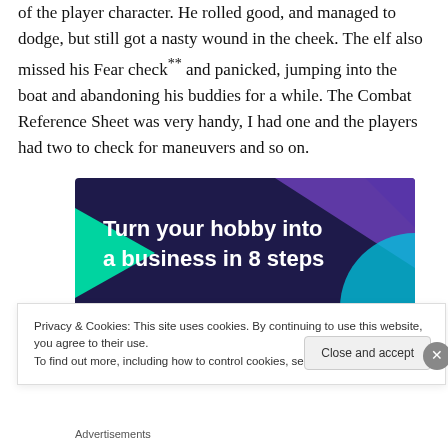of the player character. He rolled good, and managed to dodge, but still got a nasty wound in the cheek. The elf also missed his Fear check** and panicked, jumping into the boat and abandoning his buddies for a while. The Combat Reference Sheet was very handy, I had one and the players had two to check for maneuvers and so on.
[Figure (other): Advertisement banner with dark purple/navy background, green and cyan geometric shapes, text reading 'Turn your hobby into a business in 8 steps' in white bold font.]
Privacy & Cookies: This site uses cookies. By continuing to use this website, you agree to their use.
To find out more, including how to control cookies, see here: Cookie Policy
Close and accept
Advertisements